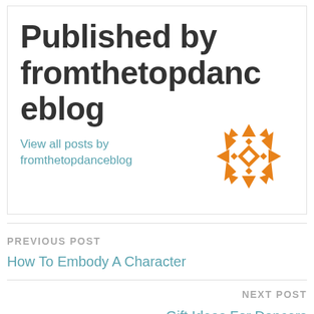Published by fromthetopdanceblog
View all posts by fromthetopdanceblog
[Figure (logo): Orange geometric snowflake/diamond pattern logo for fromthetopdanceblog]
PREVIOUS POST
How To Embody A Character
NEXT POST
Gift Ideas For Dancers